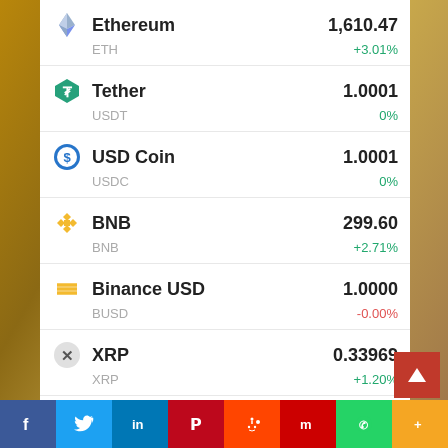Ethereum | ETH | 1,610.47 | +3.01%
Tether | USDT | 1.0001 | 0%
USD Coin | USDC | 1.0001 | 0%
BNB | BNB | 299.60 | +2.71%
Binance USD | BUSD | 1.0000 | -0.00%
XRP | XRP | 0.33969 | +1.20%
Cardano | ADA | 0.4571 | +...
Facebook Twitter LinkedIn Pinterest Reddit Mix WhatsApp More